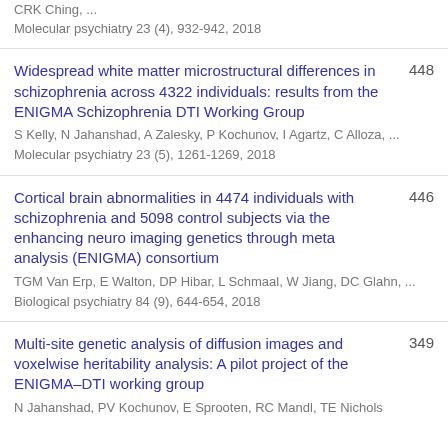CRK Ching, ...
Molecular psychiatry 23 (4), 932-942, 2018
Widespread white matter microstructural differences in schizophrenia across 4322 individuals: results from the ENIGMA Schizophrenia DTI Working Group
S Kelly, N Jahanshad, A Zalesky, P Kochunov, I Agartz, C Alloza, ...
Molecular psychiatry 23 (5), 1261-1269, 2018
448
Cortical brain abnormalities in 4474 individuals with schizophrenia and 5098 control subjects via the enhancing neuro imaging genetics through meta analysis (ENIGMA) consortium
TGM Van Erp, E Walton, DP Hibar, L Schmaal, W Jiang, DC Glahn, ...
Biological psychiatry 84 (9), 644-654, 2018
446
Multi-site genetic analysis of diffusion images and voxelwise heritability analysis: A pilot project of the ENIGMA–DTI working group
N Jahanshad, PV Kochunov, E Sprooten, RC Mandl, TE Nichols
349